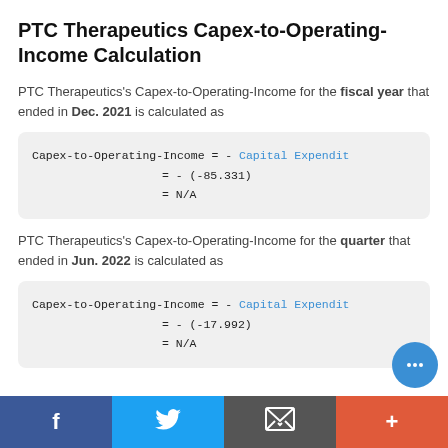PTC Therapeutics Capex-to-Operating-Income Calculation
PTC Therapeutics's Capex-to-Operating-Income for the fiscal year that ended in Dec. 2021 is calculated as
PTC Therapeutics's Capex-to-Operating-Income for the quarter that ended in Jun. 2022 is calculated as